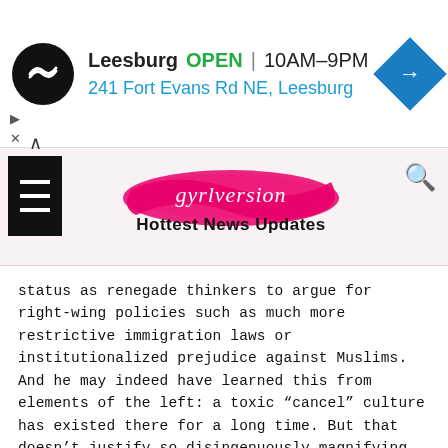[Figure (screenshot): Ad banner for a store in Leesburg showing logo, OPEN status, hours 10AM-9PM, address 241 Fort Evans Rd NE Leesburg, and navigation arrow icon]
[Figure (logo): gyrlversion Hottest News Updates logo with pink brushstroke background]
status as renegade thinkers to argue for right-wing policies such as much more restrictive immigration laws or institutionalized prejudice against Muslims. And he may indeed have learned this from elements of the left: a toxic “cancel” culture has existed there for a long time. But that doesn’t justify so disingenuously magnifying the threat. Others, I suspect, seek the reassurance of antebellum reasoning to help reconcile their ambivalent feelings about cultural and demographic changes. Still others may simply be disillusioned with contemporary politics, intuit that important conversations are